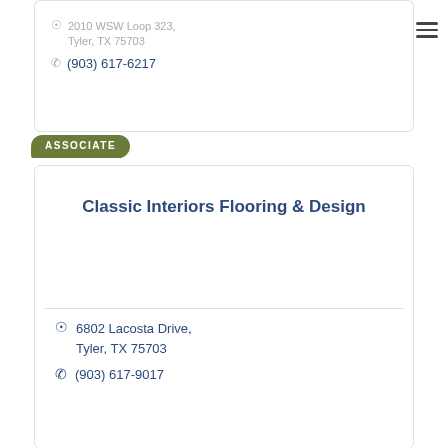2010 WSW Loop 323, Tyler, TX 75703
(903) 617-6217
ASSOCIATE
Classic Interiors Flooring & Design
6802 Lacosta Drive, Tyler, TX 75703
(903) 617-9017